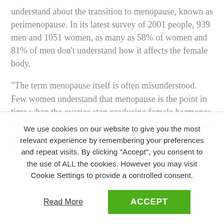understand about the transition to menopause, known as perimenopause. In its latest survey of 2001 people, 939 men and 1051 women, as many as 58% of women and 81% of men don't understand how it affects the female body.
“The term menopause itself is often misunderstood. Few women understand that menopause is the point in time when the ovaries stop producing female hormones, usually defined when a woman has not had a period for 12 months” commented Sarah Bolt CEO, Founder of Forth. “However, it is actually the
We use cookies on our website to give you the most relevant experience by remembering your preferences and repeat visits. By clicking “Accept”, you consent to the use of ALL the cookies. However you may visit Cookie Settings to provide a controlled consent.
Read More
ACCEPT